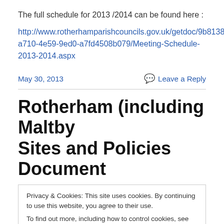The full schedule for 2013 /2014 can be found here :
http://www.rotherhamparishcouncils.gov.uk/getdoc/9b8138ae-a710-4e59-9ed0-a7fd4508b079/Meeting-Schedule-2013-2014.aspx
May 30, 2013
Leave a Reply
Rotherham (including Maltby Sites and Policies Document
Privacy & Cookies: This site uses cookies. By continuing to use this website, you agree to their use.
To find out more, including how to control cookies, see here: Cookie Policy
Close and accept
to consider and discuss aspects of the draft Rotherham